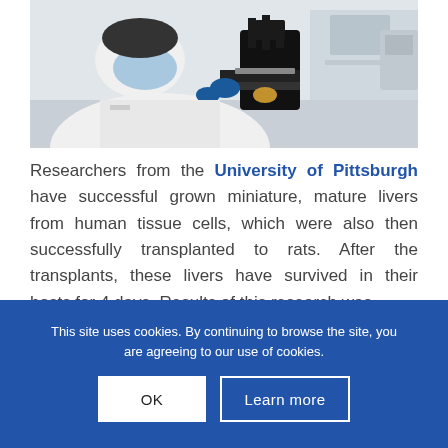[Figure (photo): A scientist wearing a white lab coat, blue gloves, and a surgical mask looking through a microscope in a laboratory setting.]
Researchers from the University of Pittsburgh have successful grown miniature, mature livers from human tissue cells, which were also then successfully transplanted to rats. After the transplants, these livers have survived in their hosts for 4 days. Results of this research was
This site uses cookies. By continuing to browse the site, you are agreeing to our use of cookies.